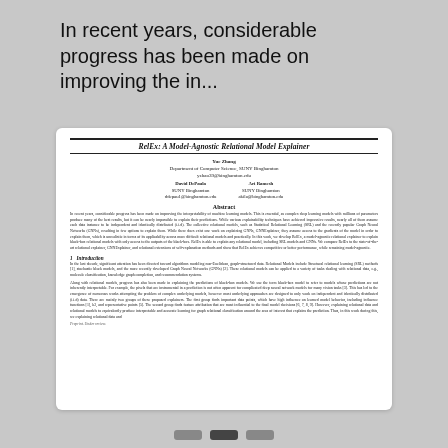In recent years, considerable progress has been made on improving the in...
[Figure (screenshot): Thumbnail of a research paper titled 'RelEx: A Model-Agnostic Relational Model Explainer' showing title, authors (Yue Zhang, David DePaula, Ari Ramesh), abstract, and introduction section.]